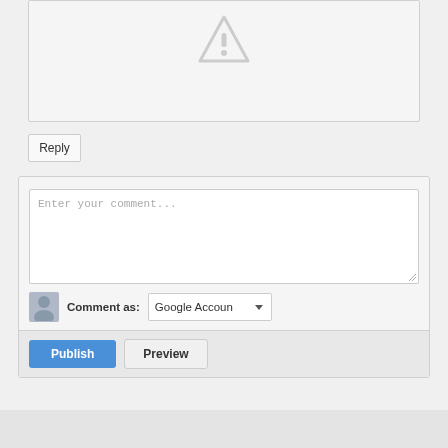[Figure (screenshot): Broken image placeholder with warning triangle icon inside a light gray bordered box]
Reply
[Figure (screenshot): Comment form with textarea 'Enter your comment...', Comment as: Google Account dropdown, Publish and Preview buttons]